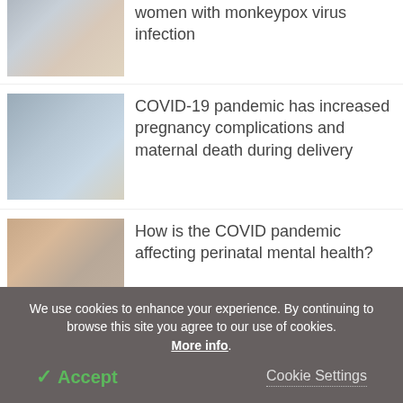[Figure (photo): Pregnant woman in gray top holding belly]
women with monkeypox virus infection
[Figure (photo): Pregnant woman in blue top, close up of belly]
COVID-19 pandemic has increased pregnancy complications and maternal death during delivery
[Figure (photo): Pregnant woman in brown/tan top holding belly]
How is the COVID pandemic affecting perinatal mental health?
We use cookies to enhance your experience. By continuing to browse this site you agree to our use of cookies. More info.